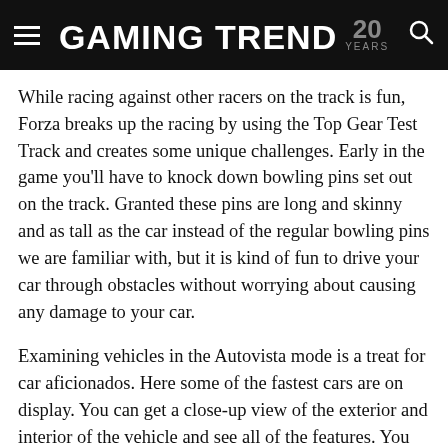GAMING TREND 20 YEARS
While racing against other racers on the track is fun, Forza breaks up the racing by using the Top Gear Test Track and creates some unique challenges. Early in the game you'll have to knock down bowling pins set out on the track. Granted these pins are long and skinny and as tall as the car instead of the regular bowling pins we are familiar with, but it is kind of fun to drive your car through obstacles without worrying about causing any damage to your car.
Examining vehicles in the Autovista mode is a treat for car aficionados. Here some of the fastest cars are on display. You can get a close-up view of the exterior and interior of the vehicle and see all of the features. You can pop open the hood and trunk, examine the engine, get into either side of the car, and get the specifics of each feature.